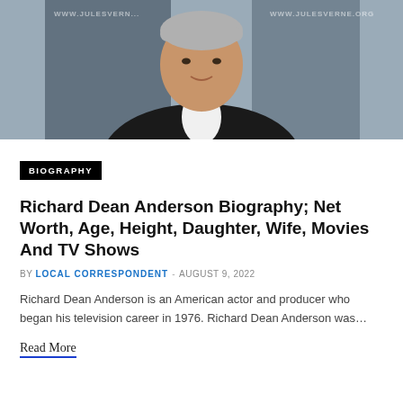[Figure (photo): Photo of Richard Dean Anderson in a black jacket and white shirt, standing in front of a backdrop with www.julesverne.org watermarks]
BIOGRAPHY
Richard Dean Anderson Biography; Net Worth, Age, Height, Daughter, Wife, Movies And TV Shows
BY LOCAL CORRESPONDENT - AUGUST 9, 2022
Richard Dean Anderson is an American actor and producer who began his television career in 1976. Richard Dean Anderson was…
Read More